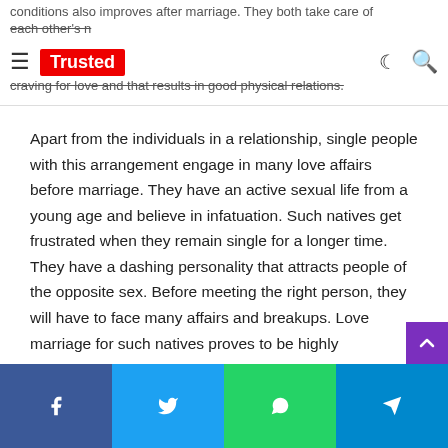conditions also improves after marriage. They both take care of each other's needs and desires. They are also craving for love and that results in good physical relations.
Apart from the individuals in a relationship, single people with this arrangement engage in many love affairs before marriage. They have an active sexual life from a young age and believe in infatuation. Such natives get frustrated when they remain single for a longer time. They have a dashing personality that attracts people of the opposite sex. Before meeting the right person, they will have to face many affairs and breakups. Love marriage for such natives proves to be highly successful.
Negative impacts and characteristics